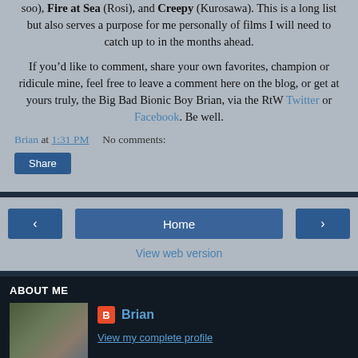soo), Fire at Sea (Rosi), and Creepy (Kurosawa). This is a long list but also serves a purpose for me personally of films I will need to catch up to in the months ahead.
If you’d like to comment, share your own favorites, champion or ridicule mine, feel free to leave a comment here on the blog, or get at yours truly, the Big Bad Bionic Boy Brian, via the RtW Twitter or Facebook. Be well.
Brian at 1:31 PM    No comments:
Share
‹    Home    ›
View web version
ABOUT ME
[Figure (photo): Profile photo of Brian - a man with glasses outdoors]
Brian
View my complete profile
Powered by Blogger